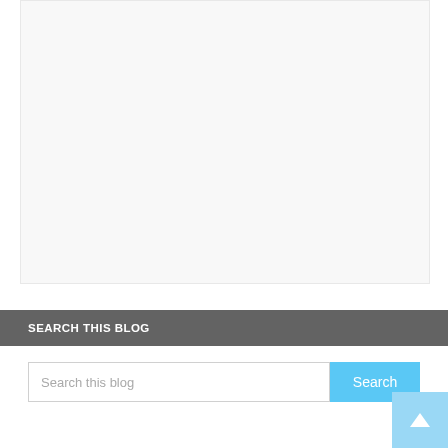[Figure (other): Large light gray placeholder/blank area representing a content region of the page]
SEARCH THIS BLOG
Search this blog
Search